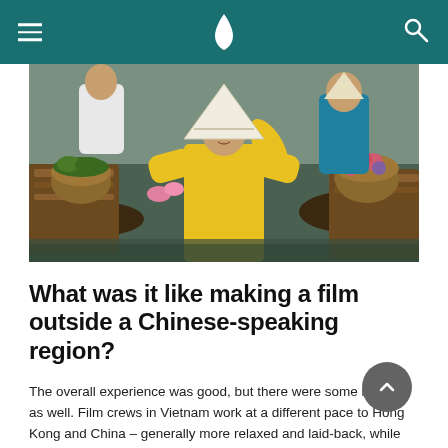Cathay Pacific navigation header with menu and search icons
[Figure (photo): A woman wearing a yellow áo dài (Vietnamese traditional dress) and a white conical nón lá hat sits in a wooden boat at a floating market, surrounded by baskets of tropical fruits and vegetables. Other boats and a person in blue are visible in the background.]
What was it like making a film outside a Chinese-speaking region?
The overall experience was good, but there were some issues as well. Film crews in Vietnam work at a different pace to Hong Kong and China – generally more relaxed and laid-back, while Hong Kong crew members are always in a rush.